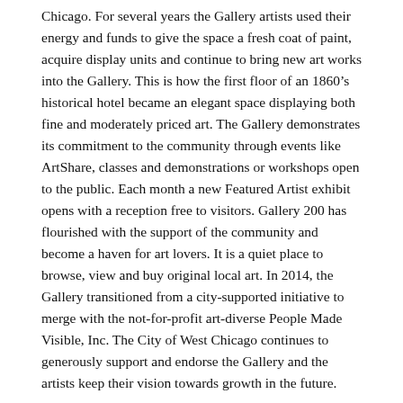Chicago. For several years the Gallery artists used their energy and funds to give the space a fresh coat of paint, acquire display units and continue to bring new art works into the Gallery. This is how the first floor of an 1860’s historical hotel became an elegant space displaying both fine and moderately priced art. The Gallery demonstrates its commitment to the community through events like ArtShare, classes and demonstrations or workshops open to the public. Each month a new Featured Artist exhibit opens with a reception free to visitors. Gallery 200 has flourished with the support of the community and become a haven for art lovers. It is a quiet place to browse, view and buy original local art. In 2014, the Gallery transitioned from a city-supported initiative to merge with the not-for-profit art-diverse People Made Visible, Inc. The City of West Chicago continues to generously support and endorse the Gallery and the artists keep their vision towards growth in the future.
Join Gallery 200
Artists are juried into Gallery 200 by a gallery discernment committee. Once accepted, the artist pays an annual fee and is required to share in staffing while the Gallery is open. Artists may display and sell work, with additional benefits to resident artists who may use gallery space to teach classes or hold workshops. Each month, an artist takes the